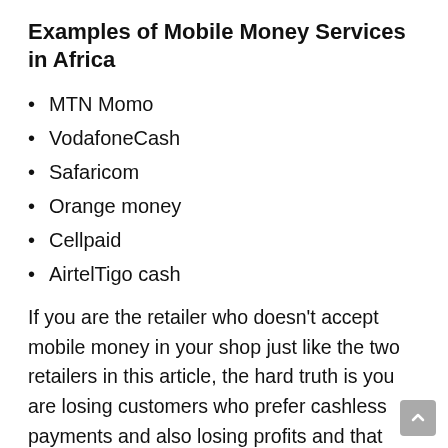Examples of Mobile Money Services in Africa
MTN Momo
VodafoneCash
Safaricom
Orange money
Cellpaid
AirtelTigo cash
If you are the retailer who doesn't accept mobile money in your shop just like the two retailers in this article, the hard truth is you are losing customers who prefer cashless payments and also losing profits and that